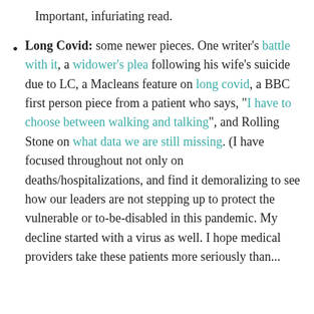Important, infuriating read.
Long Covid: some newer pieces. One writer's battle with it, a widower's plea following his wife's suicide due to LC, a Macleans feature on long covid, a BBC first person piece from a patient who says, “I have to choose between walking and talking”, and Rolling Stone on what data we are still missing. (I have focused throughout not only on deaths/hospitalizations, and find it demoralizing to see how our leaders are not stepping up to protect the vulnerable or to-be-disabled in this pandemic. My decline started with a virus as well. I hope medical providers take these patients more seriously than...